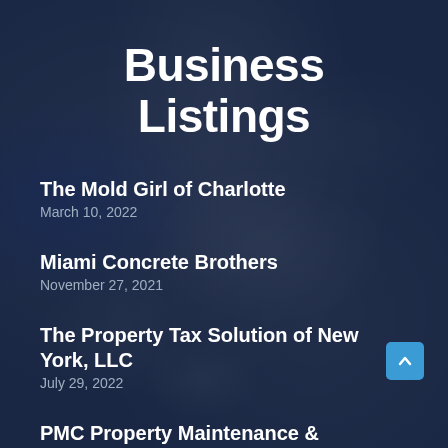Business Listings
The Mold Girl of Charlotte
March 10, 2022
Miami Concrete Brothers
November 27, 2021
The Property Tax Solution of New York, LLC
July 29, 2022
PMC Property Maintenance & Construction Inc